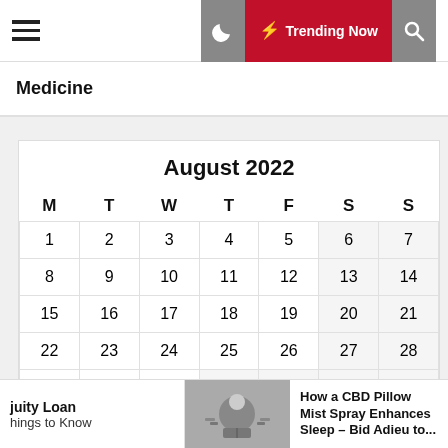Trending Now
Medicine
| M | T | W | T | F | S | S |
| --- | --- | --- | --- | --- | --- | --- |
| 1 | 2 | 3 | 4 | 5 | 6 | 7 |
| 8 | 9 | 10 | 11 | 12 | 13 | 14 |
| 15 | 16 | 17 | 18 | 19 | 20 | 21 |
| 22 | 23 | 24 | 25 | 26 | 27 | 28 |
| 29 | 30 | 31 |  |  |  |  |
juity Loan hings to Know
How a CBD Pillow Mist Spray Enhances Sleep – Bid Adieu to...